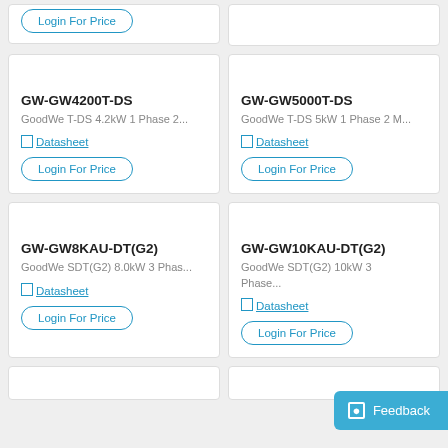Login For Price (top-left card, partial)
GW-GW4200T-DS | GoodWe T-DS 4.2kW 1 Phase 2... | Datasheet | Login For Price
GW-GW5000T-DS | GoodWe T-DS 5kW 1 Phase 2 M... | Datasheet | Login For Price
GW-GW8KAU-DT(G2) | GoodWe SDT(G2) 8.0kW 3 Phas... | Datasheet | Login For Price
GW-GW10KAU-DT(G2) | GoodWe SDT(G2) 10kW 3 Phase... | Datasheet | Login For Price
Feedback